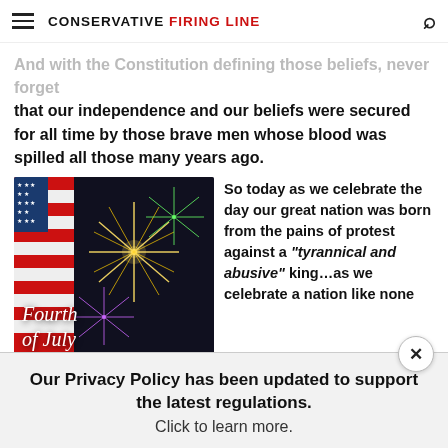CONSERVATIVE FIRING LINE
And with the Constitution defining those beliefs, never forget that our independence and our beliefs were secured for all time by those brave men whose blood was spilled all those many years ago.
[Figure (photo): Fourth of July fireworks with American flag background and cursive text 'Fourth of July']
So today as we celebrate the day our great nation was born from the pains of protest against a "tyrannical and abusive" king…as we celebrate a nation like none
Our Privacy Policy has been updated to support the latest regulations. Click to learn more.